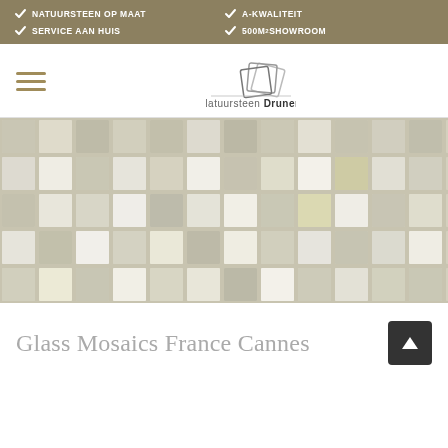NATUURSTEEN OP MAAT | SERVICE AAN HUIS | A-KWALITEIT | 500M2 SHOWROOM
[Figure (logo): Natuursteen Drunen logo with decorative paper/tile icon above the brand name]
[Figure (photo): Close-up photo of glass mosaic tiles in beige, cream and light khaki tones arranged in a grid pattern - Glass Mosaics France Cannes]
Glass Mosaics France Cannes